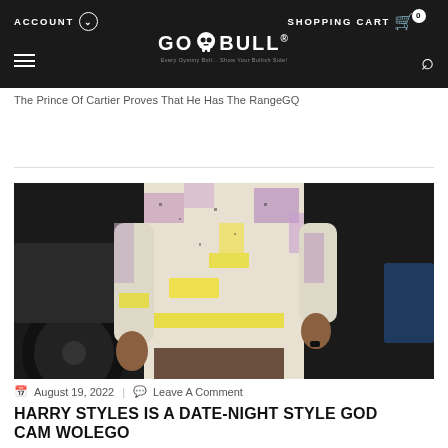ACCOUNT  SHOPPING CART 0
[Figure (logo): GO BULL logo with skull icon]
The Prince Of Cartier Proves That He Has The RangeGQ
[Figure (photo): Person wearing a colorful white, pink, purple and yellow knit/crochet sweater with brown pants, standing near a dark car]
August 19, 2022  |  Leave A Comment
HARRY STYLES IS A DATE-NIGHT STYLE GODCAM WOLEGO